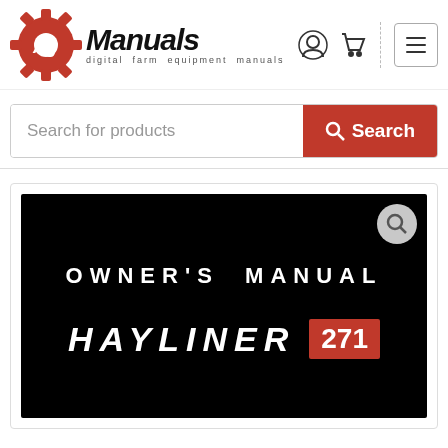[Figure (logo): Ag Manuals logo with red gear icon and text 'Ag Manuals - digital farm equipment manuals']
Search for products
[Figure (screenshot): Owner's Manual cover page for Hayliner 271 on black background with white text]